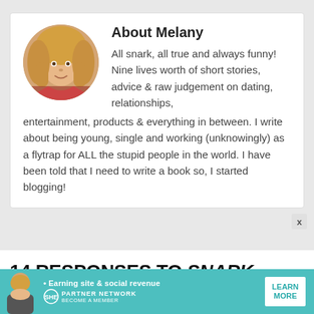[Figure (photo): Circular profile photo of a blonde woman (Melany)]
About Melany
All snark, all true and always funny! Nine lives worth of short stories, advice & raw judgement on dating, relationships, entertainment, products & everything in between. I write about being young, single and working (unknowingly) as a flytrap for ALL the stupid people in the world. I have been told that I need to write a book so, I started blogging!
14 RESPONSES TO SNARK QUEEN/MELANYSGUYDLINES ON THE MODERN DATER K-HOW
[Figure (infographic): SHE Media Partner Network advertisement banner with woman photo, text 'Earning site & social revenue', SHE logo, and LEARN MORE button]